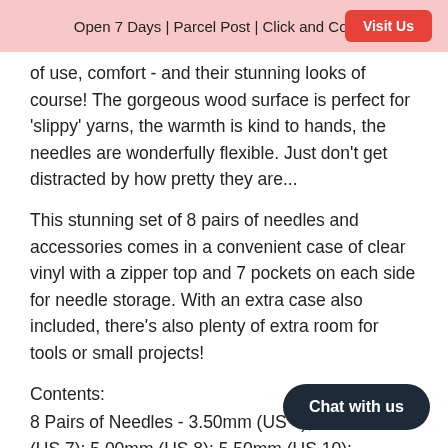Open 7 Days | Parcel Post | Click and Collect   Visit Us
of use, comfort - and their stunning looks of course! The gorgeous wood surface is perfect for 'slippy' yarns, the warmth is kind to hands, the needles are wonderfully flexible. Just don't get distracted by how pretty they are...
This stunning set of 8 pairs of needles and accessories comes in a convenient case of clear vinyl with a zipper top and 7 pockets on each side for needle storage. With an extra case also included, there's also plenty of extra room for tools or small projects!
Contents:
8 Pairs of Needles - 3.50mm (US 4); 4.50mm (US 7); 5.00mm (US 8); 5.50mm (US 10); 7.00mm (US 10.75); 8.00mm (US 11)
4 Cables - 1 x 60cm (24"); 2 x 80cm (32"); 1 x 100cm (40")